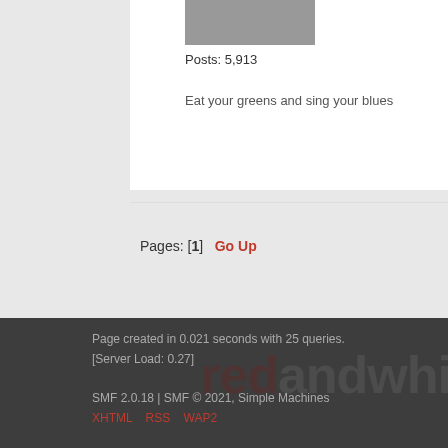Posts: 5,913
Eat your greens and sing your blues
Pages: [1]   Go Up
Red and White Kop Liverpool FC Forum » The Liverpool FC Forum » The Away Ground Guide (Moderator: Frank.) » Topic: Reading
Page created in 0.021 seconds with 25 queries.
[Server Load: 0.27]
SMF 2.0.18 | SMF © 2021, Simple Machines
XHTML   RSS   WAP2